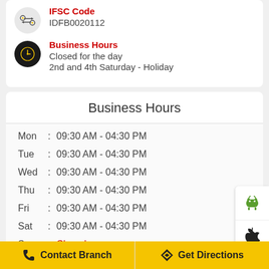IFSC Code
IDFB0020112
Business Hours
Closed for the day
2nd and 4th Saturday - Holiday
Business Hours
| Day | : | Hours |
| --- | --- | --- |
| Mon | : | 09:30 AM - 04:30 PM |
| Tue | : | 09:30 AM - 04:30 PM |
| Wed | : | 09:30 AM - 04:30 PM |
| Thu | : | 09:30 AM - 04:30 PM |
| Fri | : | 09:30 AM - 04:30 PM |
| Sat | : | 09:30 AM - 04:30 PM |
| Sun | : | Closed |
Contact Branch
Get Directions